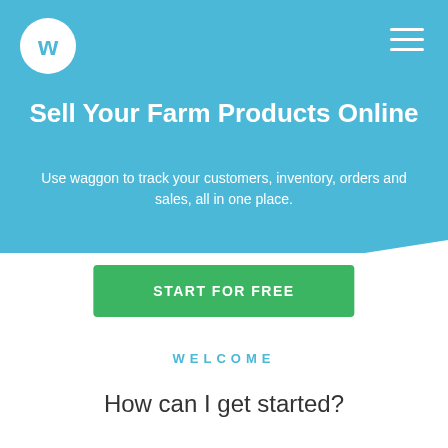[Figure (logo): Waggon logo: white circle with blue 'w' letter]
Sell Your Farm Products Online
Use waggon to track your customers, inventory, orders and sales, all in one place.
START FOR FREE
WELCOME
How can I get started?